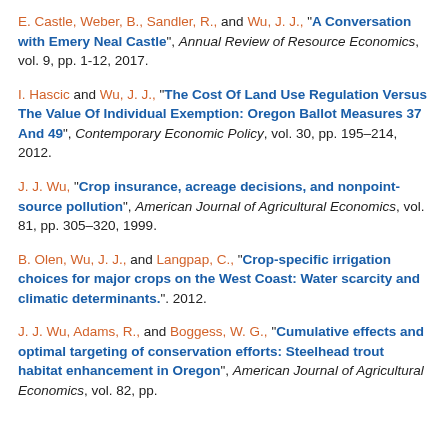E. Castle, Weber, B., Sandler, R., and Wu, J. J., "A Conversation with Emery Neal Castle", Annual Review of Resource Economics, vol. 9, pp. 1-12, 2017.
I. Hascic and Wu, J. J., "The Cost Of Land Use Regulation Versus The Value Of Individual Exemption: Oregon Ballot Measures 37 And 49", Contemporary Economic Policy, vol. 30, pp. 195–214, 2012.
J. J. Wu, "Crop insurance, acreage decisions, and nonpoint-source pollution", American Journal of Agricultural Economics, vol. 81, pp. 305–320, 1999.
B. Olen, Wu, J. J., and Langpap, C., "Crop-specific irrigation choices for major crops on the West Coast: Water scarcity and climatic determinants.". 2012.
J. J. Wu, Adams, R., and Boggess, W. G., "Cumulative effects and optimal targeting of conservation efforts: Steelhead trout habitat enhancement in Oregon", American Journal of Agricultural Economics, vol. 82, pp.